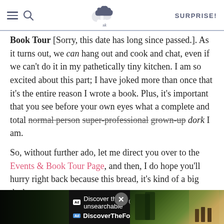SK | SURPRISE!
Book Tour [Sorry, this date has long since passed.]. As it turns out, we can hang out and cook and chat, even if we can't do it in my pathetically tiny kitchen. I am so excited about this part; I have joked more than once that it's the entire reason I wrote a book. Plus, it's important that you see before your own eyes what a complete and total normal person super-professional grown-up dork I am.

So, without further ado, let me direct you over to the Events & Book Tour Page, and then, I do hope you'll hurry right back because this bread, it's kind of a big deal.
[Figure (screenshot): Advertisement banner for DiscoverTheForest.org with forest background image, showing 'Discover the unsearchable' text and site URL]